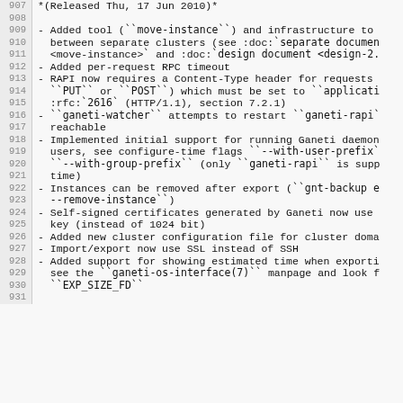907 *(Released Thu, 17 Jun 2010)*
908
909 - Added tool (``move-instance``) and infrastructure to
910   between separate clusters (see :doc:`separate documen
911   <move-instance>` and :doc:`design document <design-2.
912 - Added per-request RPC timeout
913 - RAPI now requires a Content-Type header for requests
914   ``PUT`` or ``POST``) which must be set to ``applicati
915   :rfc:`2616` (HTTP/1.1), section 7.2.1)
916 - ``ganeti-watcher`` attempts to restart ``ganeti-rapi`
917   reachable
918 - Implemented initial support for running Ganeti daemon
919   users, see configure-time flags ``--with-user-prefix`
920   ``--with-group-prefix`` (only ``ganeti-rapi`` is supp
921   time)
922 - Instances can be removed after export (``gnt-backup e
923   --remove-instance``)
924 - Self-signed certificates generated by Ganeti now use
925   key (instead of 1024 bit)
926 - Added new cluster configuration file for cluster doma
927 - Import/export now use SSL instead of SSH
928 - Added support for showing estimated time when exporti
929   see the ``ganeti-os-interface(7)`` manpage and look f
930   ``EXP_SIZE_FD``
931